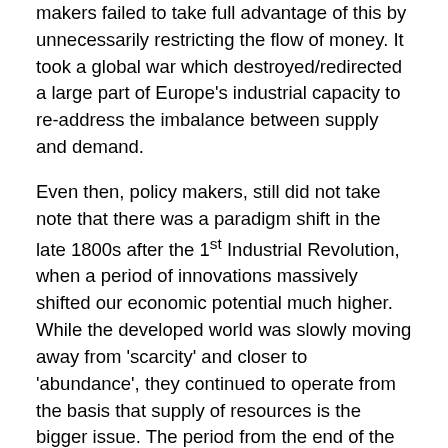makers failed to take full advantage of this by unnecessarily restricting the flow of money. It took a global war which destroyed/redirected a large part of Europe's industrial capacity to re-address the imbalance between supply and demand.
Even then, policy makers, still did not take note that there was a paradigm shift in the late 1800s after the 1st Industrial Revolution, when a period of innovations massively shifted our economic potential much higher. While the developed world was slowly moving away from 'scarcity' and closer to 'abundance', they continued to operate from the basis that supply of resources is the bigger issue. The period from the end of the WW2 to the early 1970s continued to be characterized by a restrictive flow of money, the quasi gold standard. Luckily, it did take some time for capacity to come back on line after the war,